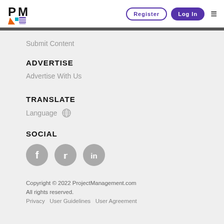[Figure (logo): ProjectManagement.com logo with colorful P and M letters icon]
Register
Log In
Submit Content
ADVERTISE
Advertise With Us
TRANSLATE
Language 🌐
SOCIAL
[Figure (illustration): Social media icons: Facebook, Twitter, LinkedIn (gray circles)]
Copyright © 2022 ProjectManagement.com
All rights reserved.
Privacy   User Guidelines   User Agreement